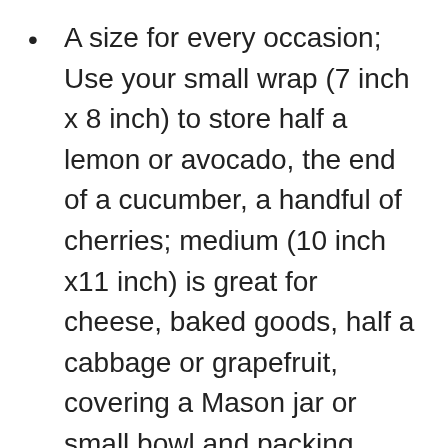A size for every occasion; Use your small wrap (7 inch x 8 inch) to store half a lemon or avocado, the end of a cucumber, a handful of cherries; medium (10 inch x11 inch) is great for cheese, baked goods, half a cabbage or grapefruit, covering a Mason jar or small bowl and packing snacks; large (13 inch x14 inch) is ideal for covering a bowl or pie dish and wrapping big bunches of produce like leafy greens, asparagus and carrots
Made in the USA with certified